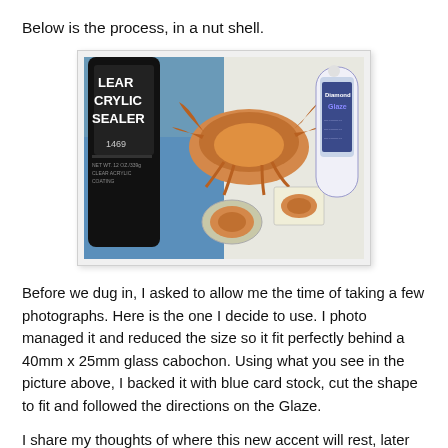Below is the process, in a nut shell.
[Figure (photo): Photo showing a black can of Clear Acrylic Sealer (1469), crab images/cutouts including a large crab photo and smaller oval and rectangular cutouts, and a white bottle of Diamond Glaze, arranged on a blue and white surface.]
Before we dug in, I asked to allow me the time of taking a few photographs. Here is the one I decide to use. I photo managed it and reduced the size so it fit perfectly behind a 40mm x 25mm glass cabochon. Using what you see in the picture above, I backed it with blue card stock, cut the shape to fit and followed the directions on the Glaze.
I share my thoughts of where this new accent will rest, later on. Looking at it now, I sure wish I would have included a mallet in the same picture. Heck, maybe I should suggest